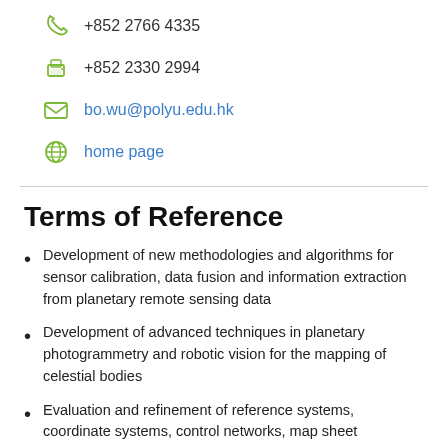+852 2766 4335
+852 2330 2994
bo.wu@polyu.edu.hk
home page
Terms of Reference
Development of new methodologies and algorithms for sensor calibration, data fusion and information extraction from planetary remote sensing data
Development of advanced techniques in planetary photogrammetry and robotic vision for the mapping of celestial bodies
Evaluation and refinement of reference systems, coordinate systems, control networks, map sheet